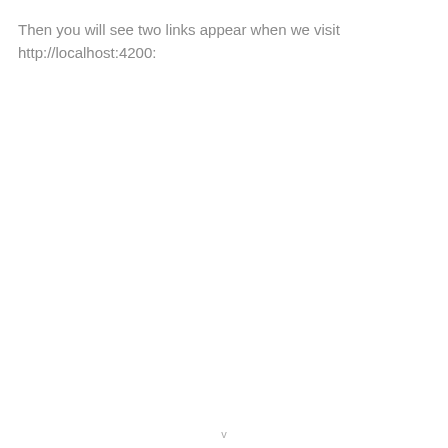Then you will see two links appear when we visit http://localhost:4200:
v